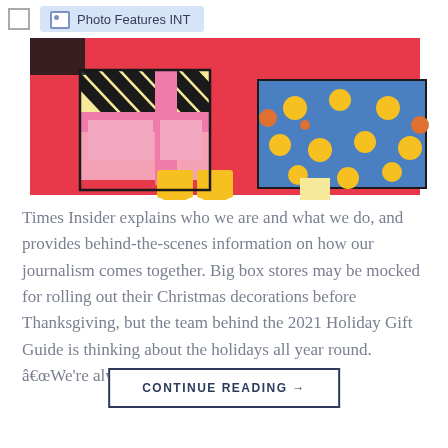Photo Features INT
[Figure (illustration): Colorful holiday/Christmas illustration showing wrapped gift boxes with polka dots and stripes, yellow boots, on a red background. Partial view cropped at top.]
Times Insider explains who we are and what we do, and provides behind-the-scenes information on how our journalism comes together. Big box stores may be mocked for rolling out their Christmas decorations before Thanksgiving, but the team behind the 2021 Holiday Gift Guide is thinking about the holidays all year round. â€œWe’re always looking for [...]
CONTINUE READING →